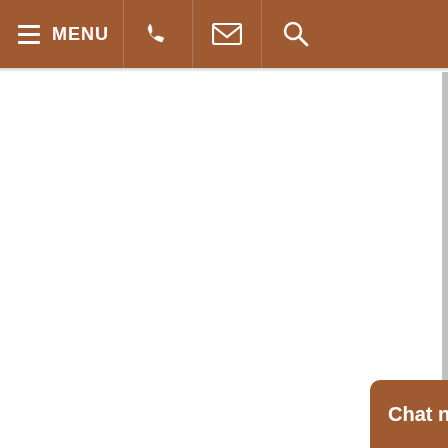MENU [phone] [email] [search]
Chat now